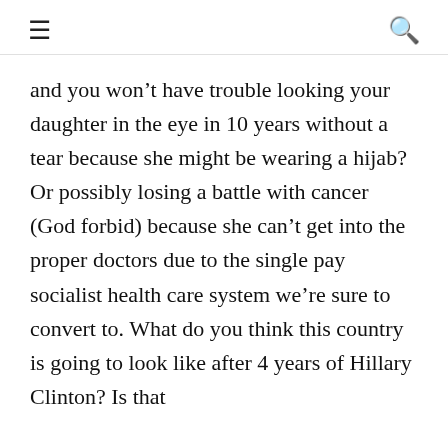≡  🔍
and you won't have trouble looking your daughter in the eye in 10 years without a tear because she might be wearing a hijab? Or possibly losing a battle with cancer (God forbid) because she can't get into the proper doctors due to the single pay socialist health care system we're sure to convert to. What do you think this country is going to look like after 4 years of Hillary Clinton? Is that